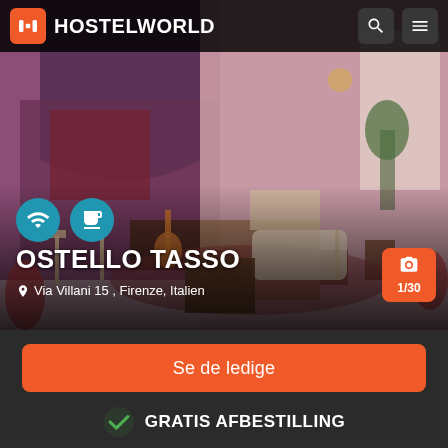[Figure (screenshot): Hostelworld app screenshot showing Ostello Tasso hostel in Florence, Italy. Interior photo of hostel lounge area with purple lighting, piano, tables and chairs. Header shows Hostelworld logo.]
OSTELLO TASSO
Via Villani 15 , Firenze, Italien
1/30
Se de ledige
GRATIS AFBESTILLING